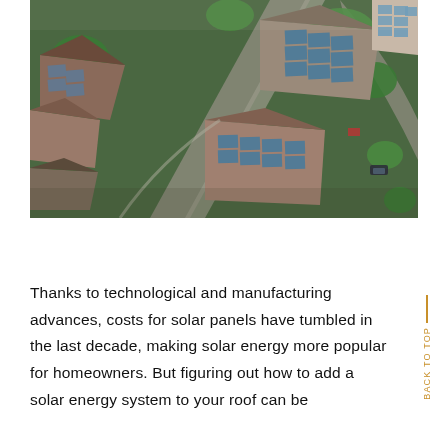[Figure (photo): Aerial/drone view of a residential neighborhood showing houses with solar panels installed on rooftops, surrounded by trees and streets.]
Thanks to technological and manufacturing advances, costs for solar panels have tumbled in the last decade, making solar energy more popular for homeowners. But figuring out how to add a solar energy system to your roof can be